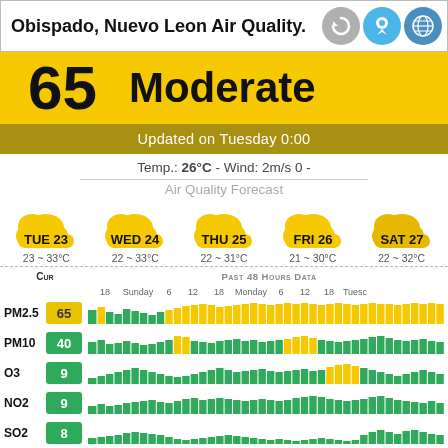Obispado, Nuevo Leon Air Quality.
65  Moderate
Updated on Tuesday 0:00
Temp.: 26°C - Wind: 2m/s 0 -
Air Quality Forecast
[Figure (infographic): 5-day air quality forecast icons showing cloud symbols for TUE 23, WED 24, THU 25, FRI 26, SAT 27 with temperature ranges 23~33°C, 22~33°C, 22~31°C, 21~30°C, 22~32°C]
|  | Cur | Past 48 Hours Data |
| --- | --- | --- |
| PM2.5 | 65 | bar chart |
| PM10 | 40 | bar chart |
| O3 | 9 | bar chart |
| NO2 | 9 | bar chart |
| SO2 | 8 | bar chart |
| CO | 9 | bar chart |